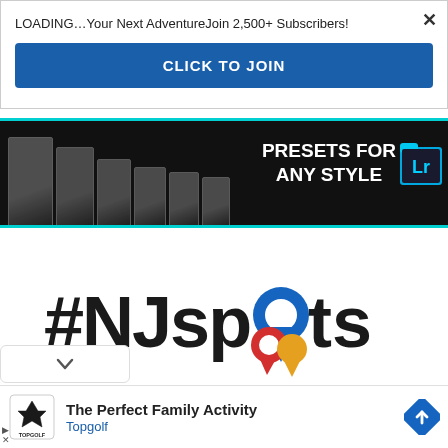LOADING…Your Next AdventureJoin 2,500+ Subscribers!
CLICK TO JOIN
[Figure (photo): Dark advertisement banner for Lightroom presets showing multiple product boxes on dark background with text 'PRESETS FOR ANY STYLE' and a Lightroom folder icon]
[Figure (logo): #NJspots logo with location pin icons in blue, red, and gold colors]
[Figure (infographic): Google ad unit showing Topgolf logo, text 'The Perfect Family Activity', 'Topgolf', and a navigation arrow icon]